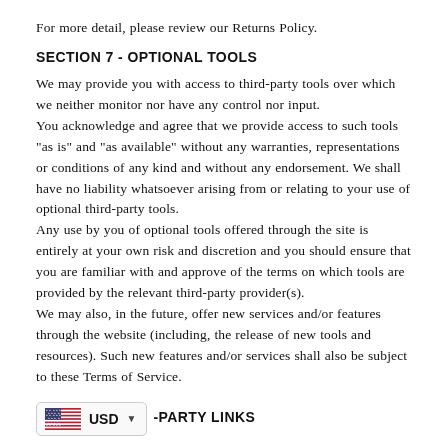For more detail, please review our Returns Policy.
SECTION 7 - OPTIONAL TOOLS
We may provide you with access to third-party tools over which we neither monitor nor have any control nor input.
You acknowledge and agree that we provide access to such tools "as is" and "as available" without any warranties, representations or conditions of any kind and without any endorsement. We shall have no liability whatsoever arising from or relating to your use of optional third-party tools.
Any use by you of optional tools offered through the site is entirely at your own risk and discretion and you should ensure that you are familiar with and approve of the terms on which tools are provided by the relevant third-party provider(s).
We may also, in the future, offer new services and/or features through the website (including, the release of new tools and resources). Such new features and/or services shall also be subject to these Terms of Service.
SECTION 8 - THIRD-PARTY LINKS
Certain content, products and services available via our Service may include